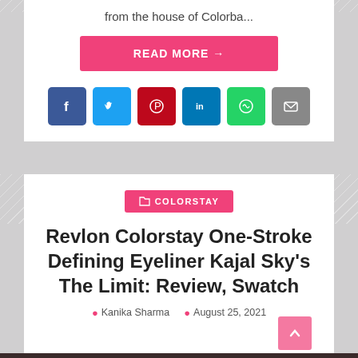from the house of Colorba...
[Figure (other): Pink READ MORE button with arrow]
[Figure (other): Social media share icons: Facebook, Twitter, Pinterest, LinkedIn, WhatsApp, Email]
[Figure (other): Pink COLORSTAY category tag with folder icon]
Revlon Colorstay One-Stroke Defining Eyeliner Kajal Sky's The Limit: Review, Swatch
Kanika Sharma  August 25, 2021